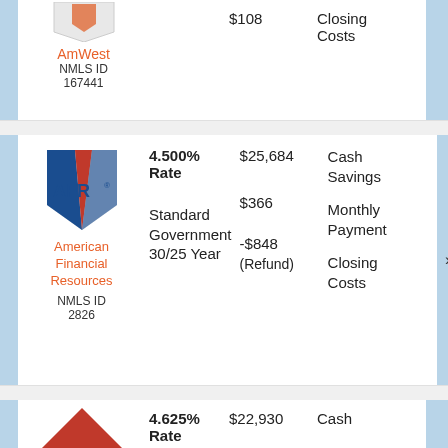[Figure (logo): AmWest lender logo (partial, top of card)]
$108
Closing Costs
AmWest
NMLS ID 167441
[Figure (logo): AFR (American Financial Resources) logo with blue and red shield/chevron mark]
4.500% Rate
$25,684
Cash Savings
Standard Government 30/25 Year
$366
Monthly Payment
-$848
Closing Costs
(Refund)
American Financial Resources
NMLS ID 2826
[Figure (logo): Third lender logo (partial, red roof/chevron shape, bottom of page)]
4.625% Rate
$22,930
Cash